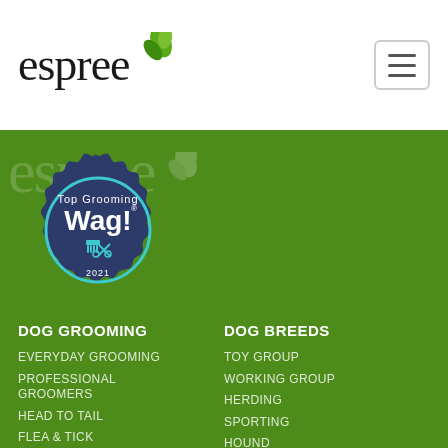[Figure (logo): Espree logo with leaf icon in black on white header bar]
[Figure (logo): Espree watermark text in light white on green background]
[Figure (illustration): Top Grooming Wag! 2021 badge/seal in navy blue with teal border, grooming icons, and white text]
DOG GROOMING
EVERYDAY GROOMING
PROFESSIONAL GROOMERS
HEAD TO TAIL
FLEA & TICK
ORAL CARE
DOG BREEDS
TOY GROUP
WORKING GROUP
HERDING
SPORTING
HOUND
TERRIER